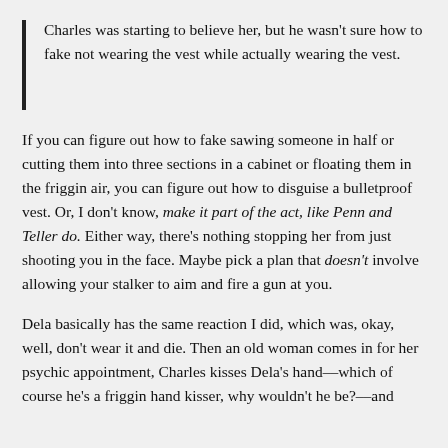Charles was starting to believe her, but he wasn't sure how to fake not wearing the vest while actually wearing the vest.
If you can figure out how to fake sawing someone in half or cutting them into three sections in a cabinet or floating them in the friggin air, you can figure out how to disguise a bulletproof vest. Or, I don't know, make it part of the act, like Penn and Teller do. Either way, there's nothing stopping her from just shooting you in the face. Maybe pick a plan that doesn't involve allowing your stalker to aim and fire a gun at you.
Dela basically has the same reaction I did, which was, okay, well, don't wear it and die. Then an old woman comes in for her psychic appointment, Charles kisses Dela's hand––which of course he's a friggin hand kisser, why wouldn't he be?––and